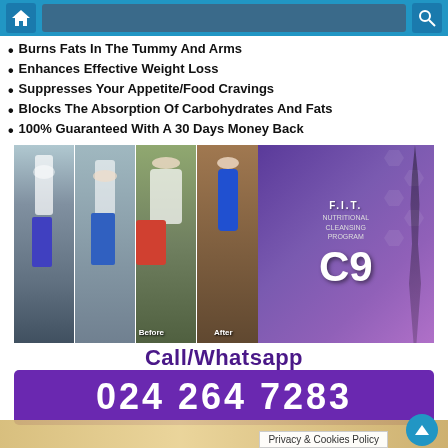Home / Search
Burns Fats In The Tummy And Arms
Enhances Effective Weight Loss
Suppresses Your Appetite/Food Cravings
Blocks The Absorption Of Carbohydrates And Fats
100% Guaranteed With A 30 Days Money Back
[Figure (photo): Collage of before/after weight loss photos and C9 Nutritional Cleansing Program product box]
Call/Whatsapp
024 264 7283
[Figure (photo): Room interior photo at bottom]
Privacy & Cookies Policy